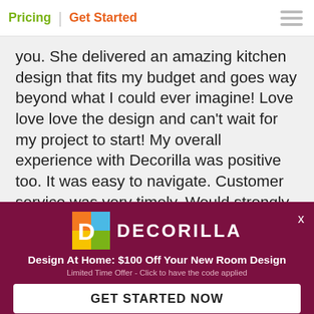Pricing | Get Started
you. She delivered an amazing kitchen design that fits my budget and goes way beyond what I could ever imagine! Love love love the design and can't wait for my project to start! My overall experience with Decorilla was positive too. It was easy to navigate. Customer service was very timely. Would strongly recommend the service to any one who has interior design needs!"
[Figure (logo): Decorilla promotional banner with logo, tagline 'Design At Home: $100 Off Your New Room Design', subtitle 'Limited Time Offer - Click to have the code applied', and a 'GET STARTED NOW' button on dark maroon background.]